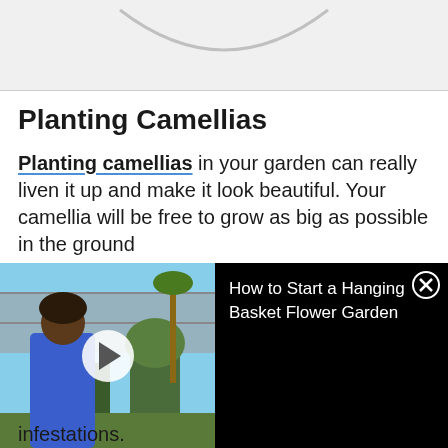[Figure (illustration): Light gray top area with a dark gray curved arc/swoosh shape at the top center, resembling a U-shape or bowl opening upward]
Planting Camellias
Planting camellias in your garden can really liven it up and make it look beautiful. Your camellia will be free to grow as big as possible in the ground and watch out for infestations.
[Figure (screenshot): Video thumbnail on the left showing a woman in a blue dress in a garden setting with a white play button circle overlay. On the right a black panel with white text reading 'How to Start a Hanging Basket Flower Garden' and an X close button.]